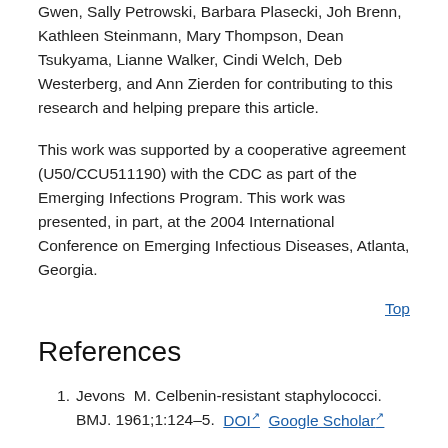Gwen, Sally Petrowski, Barbara Plasecki, Joh Brenn, Kathleen Steinmann, Mary Thompson, Dean Tsukyama, Lianne Walker, Cindi Welch, Deb Westerberg, and Ann Zierden for contributing to this research and helping prepare this article.
This work was supported by a cooperative agreement (U50/CCU511190) with the CDC as part of the Emerging Infections Program. This work was presented, in part, at the 2004 International Conference on Emerging Infectious Diseases, Atlanta, Georgia.
Top
References
Jevons M. Celbenin-resistant staphylococci. BMJ. 1961;1:124–5. DOI Google Scholar